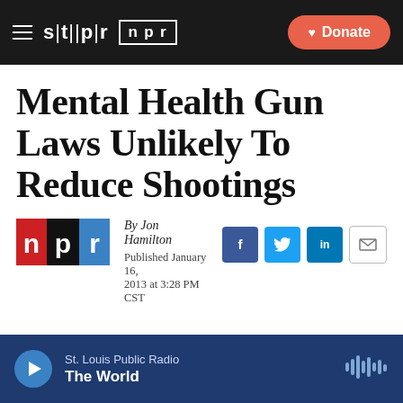stlpr | npr  Donate
Mental Health Gun Laws Unlikely To Reduce Shootings
By Jon Hamilton
Published January 16, 2013 at 3:28 PM CST
[Figure (logo): NPR logo in red, black and blue]
[Figure (infographic): Social share icons: Facebook, Twitter, LinkedIn, Email]
LISTEN • 4:19
St. Louis Public Radio  The World